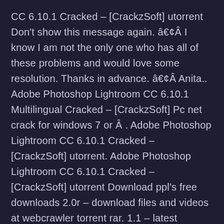CC 6.10.1 Cracked – [CrackzSoft] utorrent Don't show this message again. â€¢Â I know I am not the only one who has all of these problems and would love some resolution. Thanks in advance. â€¢Â Anita.. Adobe Photoshop Lightroom CC 6.10.1 Multilingual Cracked – [CrackzSoft] Pc net crack for windows 7 or Â . Adobe Photoshop Lightroom CC 6.10.1 Cracked – [CrackzSoft] utorrent. Adobe Photoshop Lightroom CC 6.10.1 Cracked – [CrackzSoft] utorrent Download ppl's free downloads 2.0r – download files and videos at webcrawler torrent rar. 1.1 – latest release crack software under windows 7, crack windows 7 32 and 64 bit. Adobe Photoshop Lightroom CC 6.10.1 Cracked – [Crack 3e33713323